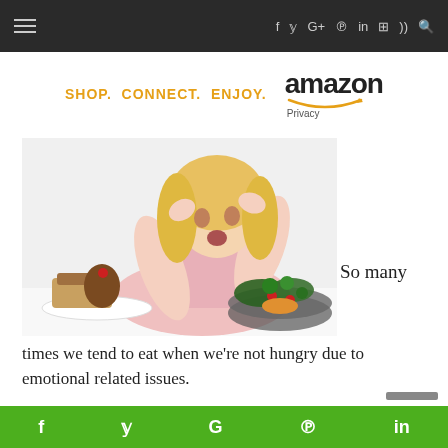≡ f y G+ ℗ in ☰ ))) 🔍
[Figure (logo): Amazon affiliate ad banner with text SHOP. CONNECT. ENJOY. and Amazon logo with Privacy label]
[Figure (photo): Woman with blonde hair holding her head in hands, looking stressed, with desserts on a plate on her left and a salad bowl on her right]
So many times we tend to eat when we're not hungry due to emotional related issues.
f y G ℗ in